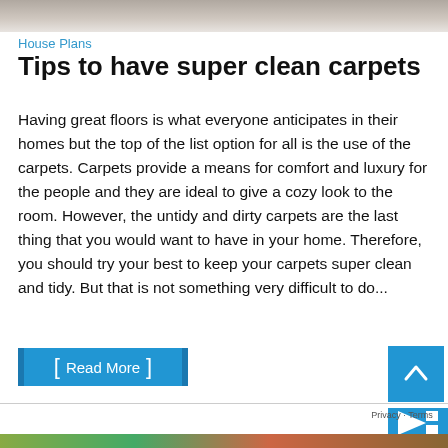[Figure (photo): Top portion of a photo, likely a carpet or floor texture, cropped at the top of the page]
House Plans
Tips to have super clean carpets
Having great floors is what everyone anticipates in their homes but the top of the list option for all is the use of the carpets. Carpets provide a means for comfort and luxury for the people and they are ideal to give a cozy look to the room. However, the untidy and dirty carpets are the last thing that you would want to have in your home. Therefore, you should try your best to keep your carpets super clean and tidy. But that is not something very difficult to do...
Read More
[Figure (photo): Bottom partial image strip, colorful, possibly a garden or outdoor scene]